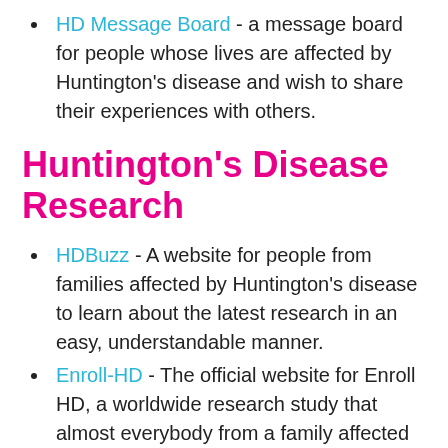HD Message Board - a message board for people whose lives are affected by Huntington's disease and wish to share their experiences with others.
Huntington's Disease Research
HDBuzz - A website for people from families affected by Huntington's disease to learn about the latest research in an easy, understandable manner.
Enroll-HD - The official website for Enroll HD, a worldwide research study that almost everybody from a family affected